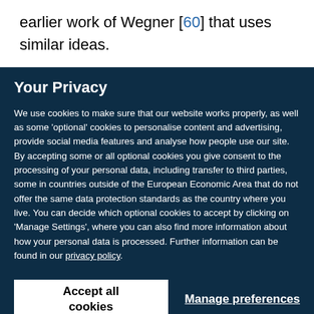earlier work of Wegner [60] that uses similar ideas.
Your Privacy
We use cookies to make sure that our website works properly, as well as some 'optional' cookies to personalise content and advertising, provide social media features and analyse how people use our site. By accepting some or all optional cookies you give consent to the processing of your personal data, including transfer to third parties, some in countries outside of the European Economic Area that do not offer the same data protection standards as the country where you live. You can decide which optional cookies to accept by clicking on 'Manage Settings', where you can also find more information about how your personal data is processed. Further information can be found in our privacy policy.
Accept all cookies
Manage preferences